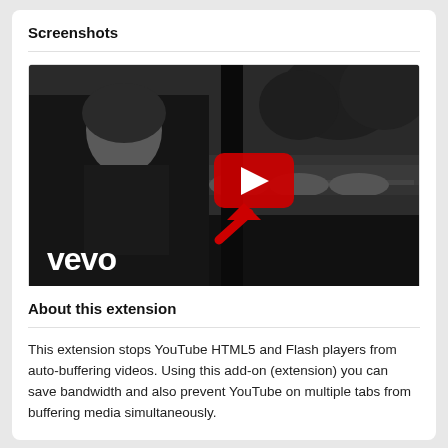Screenshots
[Figure (screenshot): Screenshot of a YouTube/Vevo music video player showing a black and white video of a woman walking, with a red YouTube play button in the center, a red arrow pointing to the play button, and the Vevo logo in the lower left corner.]
About this extension
This extension stops YouTube HTML5 and Flash players from auto-buffering videos. Using this add-on (extension) you can save bandwidth and also prevent YouTube on multiple tabs from buffering media simultaneously.